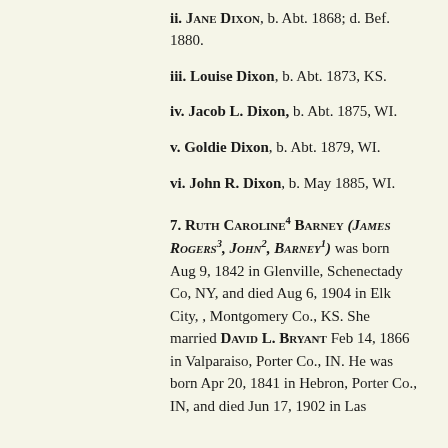ii. Jane Dixon, b. Abt. 1868; d. Bef. 1880.
iii. Louise Dixon, b. Abt. 1873, KS.
iv. Jacob L. Dixon, b. Abt. 1875, WI.
v. Goldie Dixon, b. Abt. 1879, WI.
vi. John R. Dixon, b. May 1885, WI.
7. Ruth Caroline4 Barney (James Rogers3, John2, Barney1) was born Aug 9, 1842 in Glenville, Schenectady Co, NY, and died Aug 6, 1904 in Elk City, , Montgomery Co., KS. She married David L. Bryant Feb 14, 1866 in Valparaiso, Porter Co., IN. He was born Apr 20, 1841 in Hebron, Porter Co., IN, and died Jun 17, 1902 in Las